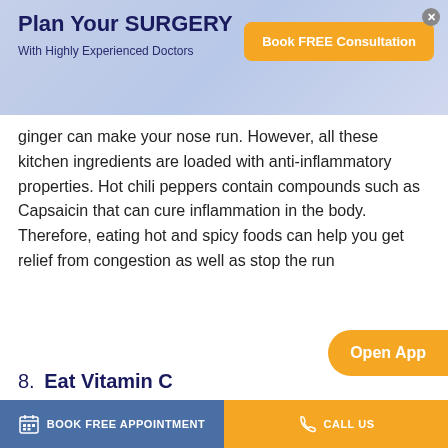Plan Your SURGERY
With Highly Experienced Doctors
ginger can make your nose run. However, all these kitchen ingredients are loaded with anti-inflammatory properties. Hot chili peppers contain compounds such as Capsaicin that can cure inflammation in the body. Therefore, eating hot and spicy foods can help you get relief from congestion as well as stop the run
8. Eat Vitamin C
[Figure (photo): Photo of sliced grapefruit halves and a red bell pepper on a wooden surface, with other colorful fruits/vegetables visible]
BOOK FREE APPOINTMENT | CALL US